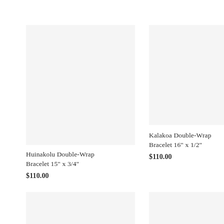[Figure (photo): Product image placeholder for Huinakolu Double-Wrap Bracelet, light gray background]
Huinakolu Double-Wrap Bracelet 15" x 3/4"
$110.00
[Figure (photo): Product image placeholder for Kalakoa Double-Wrap Bracelet, light gray background]
Kalakoa Double-Wrap Bracelet 16" x 1/2"
$110.00
[Figure (photo): Product image placeholder bottom-left, light gray background]
[Figure (photo): Product image placeholder bottom-right, light gray background]